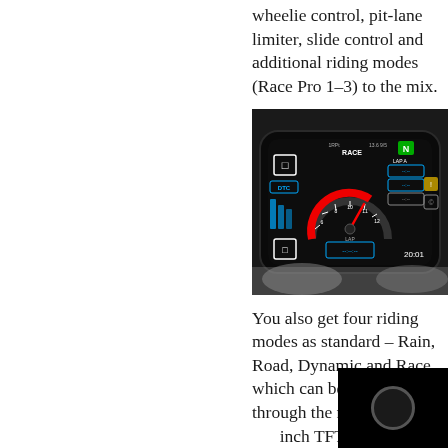wheelie control, pit-lane limiter, slide control and additional riding modes (Race Pro 1–3) to the mix.
[Figure (photo): Close-up of a motorcycle TFT dashboard display showing RACE mode with lap timer, DTC, and various riding data readouts.]
You also get four riding modes as standard – Rain, Road, Dynamic and Race, which can be accessed through the m… inch TFT displa…